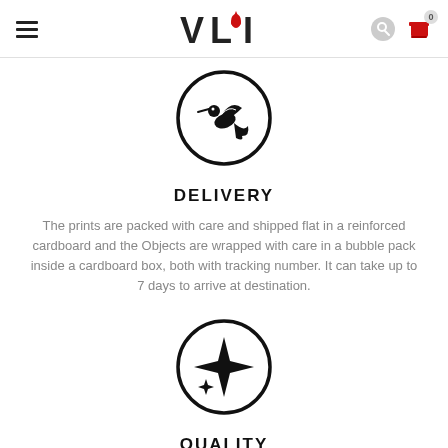VLI (logo with navigation icons)
[Figure (illustration): Bird (hummingbird) icon inside a circle, black outline on white background]
DELIVERY
The prints are packed with care and shipped flat in a reinforced cardboard and the Objects are wrapped with care in a bubble pack inside a cardboard box, both with tracking number. It can take up to 7 days to arrive at destination.
[Figure (illustration): Four-pointed star sparkle icon inside a circle, black outline on white background]
QUALITY